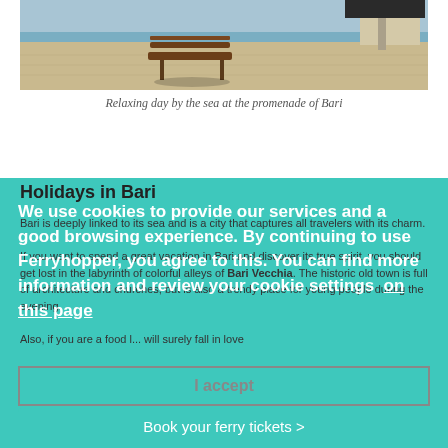[Figure (photo): Photo of a waterfront promenade with a wooden bench and an umbrella-shaded structure, sea in background]
Relaxing day by the sea at the promenade of Bari
Holidays in Bari
Bari is deeply linked to its sea and is a city that captures all travelers with its charm.

If you want to spend a great vacation in Bari and discover its true spirit, you should get lost in the labyrinth of colorful alleys of Bari Vecchia. The historic old town is full of architecture and churches, but is also a trendy place for young people during the evening.

Also, if you are a food l... will surely fall in love
We use cookies to provide our services and a good browsing experience. By continuing to use Ferryhopper, you agree to this. You can find more information and review your cookie settings  on this page
I accept
Book your ferry tickets >